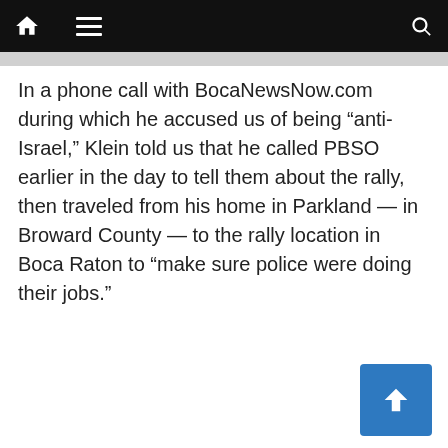BocaNewsNow.com navigation bar
In a phone call with BocaNewsNow.com during which he accused us of being “anti-Israel,” Klein told us that he called PBSO earlier in the day to tell them about the rally, then traveled from his home in Parkland — in Broward County — to the rally location in Boca Raton to “make sure police were doing their jobs.”